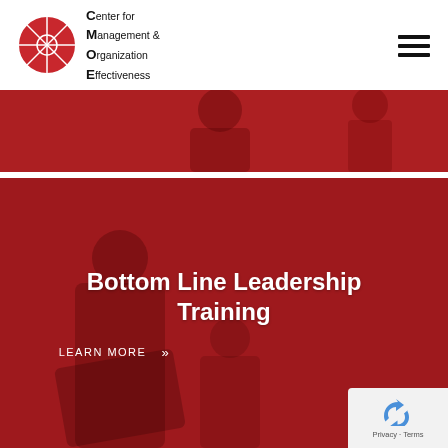[Figure (logo): CMOE circular red logo with text: Center for Management & Organization Effectiveness]
[Figure (photo): Red-tinted navigation bar with hamburger menu icon (three horizontal lines)]
[Figure (photo): Red-tinted banner photo showing people in a meeting/training session]
Bottom Line Leadership Training
LEARN MORE »
[Figure (other): reCAPTCHA privacy badge showing Privacy - Terms]